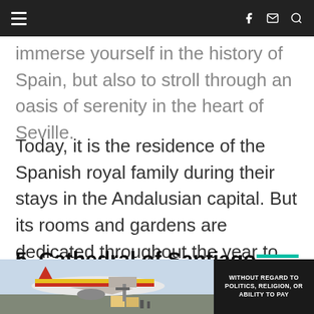☰ [navigation header with hamburger menu, facebook, email, search icons]
immerse yourself in the history of Spain, but also to stroll through an oasis of serenity in the heart of Seville.
Today, it is the residence of the Spanish royal family during their stays in the Andalusian capital. But its rooms and gardens are dedicated throughout the year to hosting exhibitions and cultural events.
5. Cathedral of Santiago de Compostela
[Figure (photo): Advertisement banner showing an airplane with cargo being loaded, with text 'WITHOUT REGARD TO POLITICS, RELIGION, OR ABILITY TO PAY']